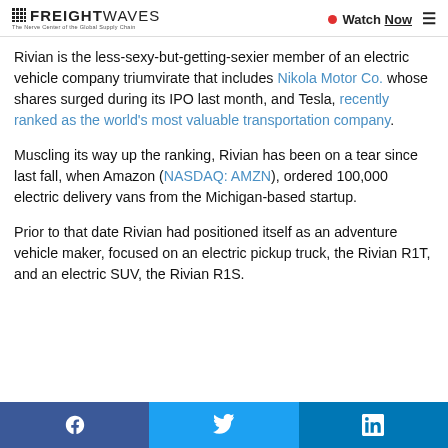FREIGHTWAVES — The Nerve Center of the Global Supply Chain | Watch Now
Rivian is the less-sexy-but-getting-sexier member of an electric vehicle company triumvirate that includes Nikola Motor Co. whose shares surged during its IPO last month, and Tesla, recently ranked as the world's most valuable transportation company.
Muscling its way up the ranking, Rivian has been on a tear since last fall, when Amazon (NASDAQ: AMZN), ordered 100,000 electric delivery vans from the Michigan-based startup.
Prior to that date Rivian had positioned itself as an adventure vehicle maker, focused on an electric pickup truck, the Rivian R1T, and an electric SUV, the Rivian R1S.
Facebook | Twitter | LinkedIn